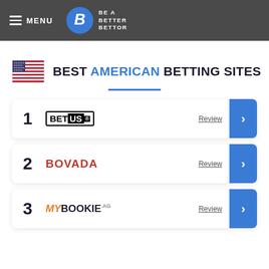MENU | BE A BETTER BETTOR
BEST AMERICAN BETTING SITES
1 BetUS Review
2 BOVADA Review
3 MYBOOKIE.AG Review